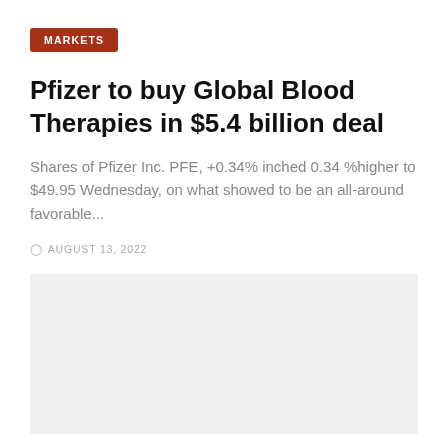MARKETS
Pfizer to buy Global Blood Therapies in $5.4 billion deal
Shares of Pfizer Inc. PFE, +0.34% inched 0.34 %higher to $49.95 Wednesday, on what showed to be an all-around favorable...
AUGUST 13, 2022
[Figure (photo): Gray placeholder image area for article photo]